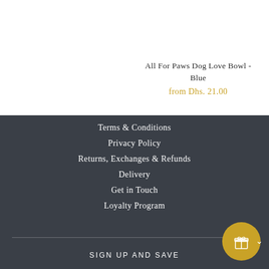All For Paws Dog Love Bowl - Blue
from Dhs. 21.00
Terms & Conditions
Privacy Policy
Returns, Exchanges & Refunds
Delivery
Get in Touch
Loyalty Program
SIGN UP AND SAVE